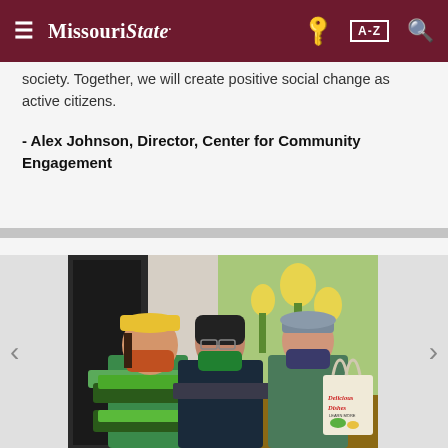Missouri State [navigation bar with hamburger menu, key icon, A-Z index, and search icon]
society. Together, we will create positive social change as active citizens.
- Alex Johnson, Director, Center for Community Engagement
[Figure (photo): Three people wearing masks standing indoors in front of a mural. The person on the left wears a yellow cap, orange mask, and green t-shirt, and holds a crate of green vegetables. The person in the center wears a dark beanie, green mask, and dark jacket, and holds a crate of vegetables. The person on the right wears a gray cap, dark floral mask, and green t-shirt, and holds a reusable bag that reads 'Delicious Dishes'.]